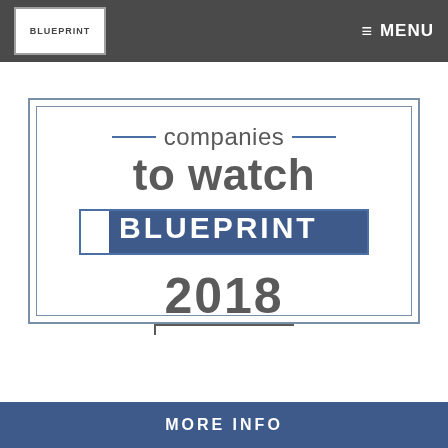BLUEPRINT | ≡ MENU
[Figure (logo): Blueprint Companies to Watch 2018 badge with blue rectangle logo and decorative double border frame]
MORE INFO